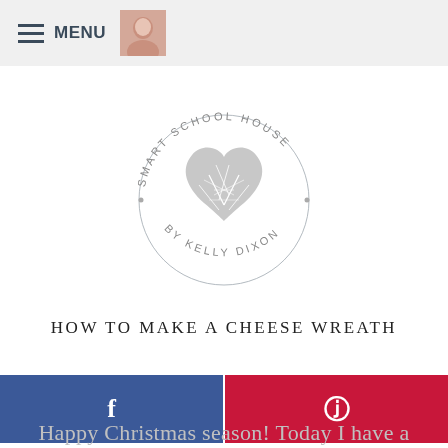MENU
[Figure (logo): Smart School House by Kelly Dixon circular logo with heart made of leaves in center]
HOW TO MAKE A CHEESE WREATH
[Figure (infographic): Facebook share button (blue) and Pinterest share button (red) side by side]
Happy Christmas season! Today I have a